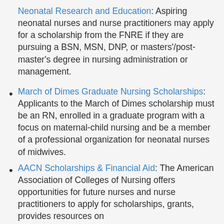Neonatal Research and Education: Aspiring neonatal nurses and nurse practitioners may apply for a scholarship from the FNRE if they are pursuing a BSN, MSN, DNP, or masters'/post-master's degree in nursing administration or management.
March of Dimes Graduate Nursing Scholarships: Applicants to the March of Dimes scholarship must be an RN, enrolled in a graduate program with a focus on maternal-child nursing and be a member of a professional organization for neonatal nurses of midwives.
AACN Scholarships & Financial Aid: The American Association of Colleges of Nursing offers opportunities for future nurses and nurse practitioners to apply for scholarships, grants, provides resources on